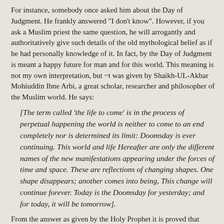For instance, somebody once asked him about the Day of Judgment. He frankly answered "I don't know". However, if you ask a Muslim priest the same question, he will arrogantly and authoritatively give such details of the old mythological belief as if he had personally knowledge of it. In fact, by the Day of Judgment is meant a happy future for man and for this world. This meaning is not my own interpretation, but ~t was given by Shaikh-UL-Akbar Mohiuddin Ibne Arbi, a great scholar, researcher and philosopher of the Muslim world. He says:
[The term called 'the life to come' is in the process of perpetual happening the world is neither to come to an end completely nor is determined its limit: Doomsday is ever continuing. This world and life Hereafter are only the different names of the new manifestations appearing under the forces of time and space. These are reflections of changing shapes. One shape disappears; another comes into being, This change will continue forever. Today is the Doomsday for yesterday; and for today, it will be tomorrow].
From the answer as given by the Holy Prophet it is proved that regarding this traditional belief, he did not wish to prophesize and, therefore, left it to the people to decide for themselves. In the same way, there is another narrative that once the Messenger of God happened to pass through a date orchard. At that time, the grove keepers were busy in cross-fertilizing the trees. The Holy Prophet